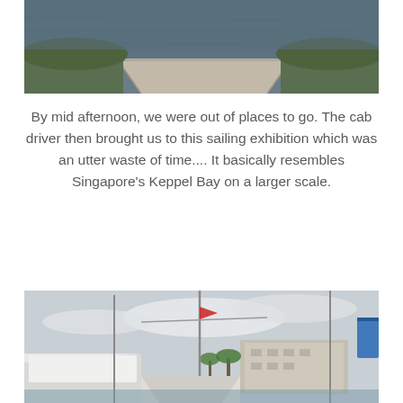[Figure (photo): Top portion of a photo showing a calm water body (lake or river) with a concrete or stone ramp/path in the lower foreground, surrounded by greenery.]
By mid afternoon, we were out of places to go. The cab driver then brought us to this sailing exhibition which was an utter waste of time.... It basically resembles Singapore's Keppel Bay on a larger scale.
[Figure (photo): Photo of a sailing exhibition marina with large white yachts and sailboat masts in the foreground, a multi-story building and palm trees in the background, and a cloudy sky. A blue flag is visible on the right side.]